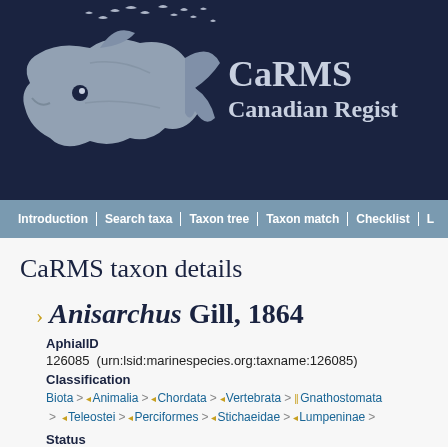[Figure (logo): CaRMS header banner with dark navy background, stylized fish/marine creature silhouette in grey-white on the left, and 'CaRMS Canadian Regist' text on the right in light grey-blue serif font]
Introduction | Search taxa | Taxon tree | Taxon match | Checklist | L
CaRMS taxon details
Anisarchus Gill, 1864
AphialID
126085  (urn:lsid:marinespecies.org:taxname:126085)
Classification
Biota > Animalia > Chordata > Vertebrata > Gnathostomata > Teleostei > Perciformes > Stichaeidae > Lumpeninae >
Status